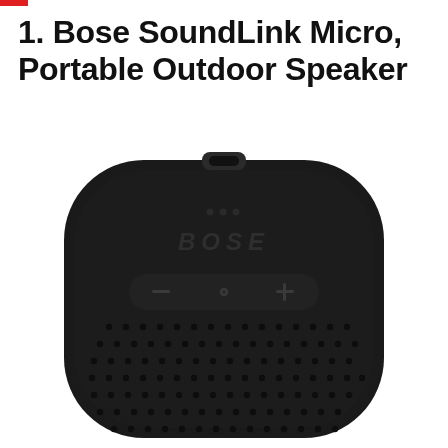1. Bose SoundLink Micro, Portable Outdoor Speaker
[Figure (photo): Bose SoundLink Micro portable Bluetooth speaker in black, viewed from top-front angle. Shows the round square body with speaker grille dots, BOSE logo, volume minus and plus buttons, power/bluetooth button in center, and a loop attachment at top.]